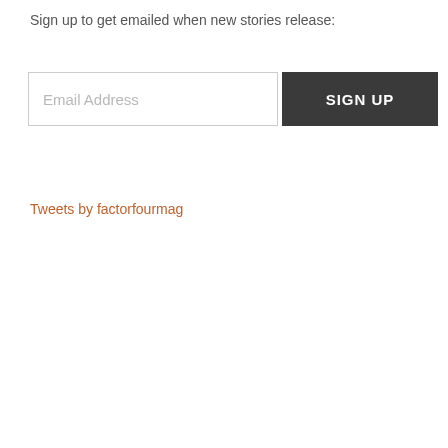Sign up to get emailed when new stories release:
[Figure (other): Email signup form with an Email Address input field and a SIGN UP button]
Tweets by factorfourmag